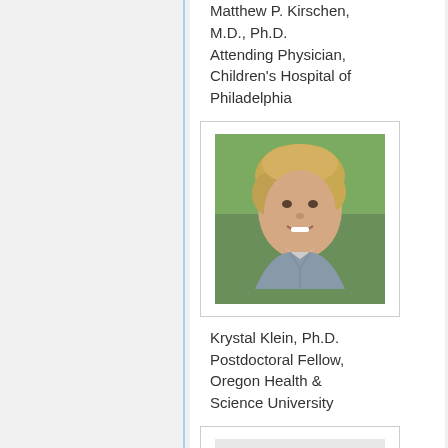Matthew P. Kirschen, M.D., Ph.D. Attending Physician, Children's Hospital of Philadelphia
[Figure (photo): Headshot photo of Krystal Klein, a woman with curly blonde hair wearing a grey blazer, smiling outdoors]
Krystal Klein, Ph.D. Postdoctoral Fellow, Oregon Health & Science University
[Figure (photo): Placeholder silhouette image for a person's photo]